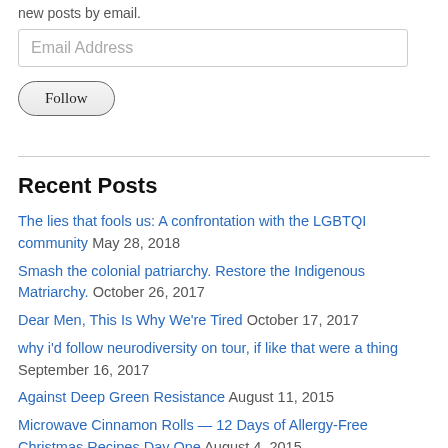new posts by email.
Email Address
Follow
Recent Posts
The lies that fools us: A confrontation with the LGBTQI community May 28, 2018
Smash the colonial patriarchy. Restore the Indigenous Matriarchy. October 26, 2017
Dear Men, This Is Why We're Tired October 17, 2017
why i'd follow neurodiversity on tour, if like that were a thing September 16, 2017
Against Deep Green Resistance August 11, 2015
Microwave Cinnamon Rolls — 12 Days of Allergy-Free Christmas Recipes Day One August 4, 2015
Warning From Scientists — Halt Fossil Fuel Burning Fast or Age of